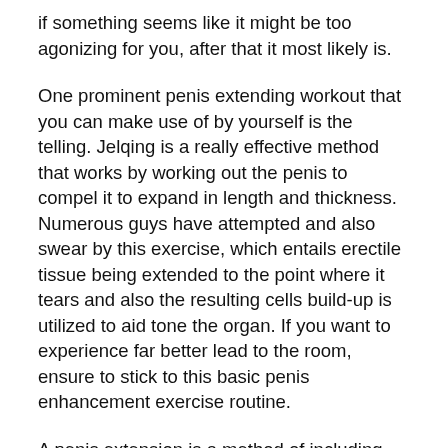if something seems like it might be too agonizing for you, after that it most likely is.
One prominent penis extending workout that you can make use of by yourself is the telling. Jelqing is a really effective method that works by working out the penis to compel it to expand in length and thickness. Numerous guys have attempted and also swear by this exercise, which entails erectile tissue being extended to the point where it tears and also the resulting cells build-up is utilized to aid tone the organ. If you want to experience far better lead to the room, ensure to stick to this basic penis enhancement exercise routine.
A penis extension is a method of including